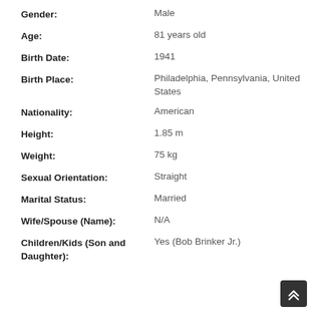Gender: Male
Age: 81 years old
Birth Date: 1941
Birth Place: Philadelphia, Pennsylvania, United States
Nationality: American
Height: 1.85 m
Weight: 75 kg
Sexual Orientation: Straight
Marital Status: Married
Wife/Spouse (Name): N/A
Children/Kids (Son and Daughter): Yes (Bob Brinker Jr.)